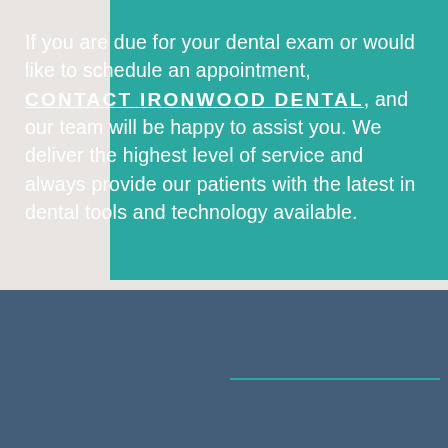If you are due for your dental exam or would like to schedule an appointment, CONTACT IRONWOOD DENTAL, and our team will be happy to assist you. We deliver the highest level of service and always provide our patients with the latest in dental tools and technology available.